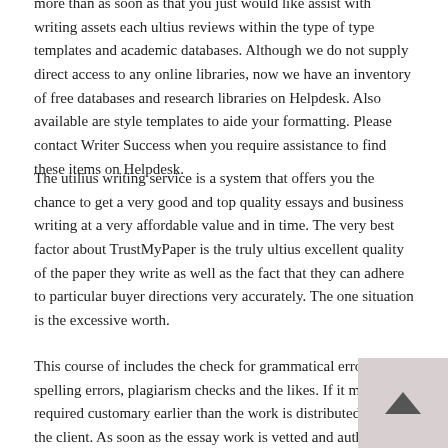more than as soon as that you just would like assist with writing assets each ultius reviews within the type of type templates and academic databases. Although we do not supply direct access to any online libraries, now we have an inventory of free databases and research libraries on Helpdesk. Also available are style templates to aide your formatting. Please contact Writer Success when you require assistance to find these items on Helpdesk.
The utilius writing service is a system that offers you the chance to get a very good and top quality essays and business writing at a very affordable value and in time. The very best factor about TrustMyPaper is the truly ultius excellent quality of the paper they write as well as the fact that they can adhere to particular buyer directions very accurately. The one situation is the excessive worth.
This course of includes the check for grammatical errors, spelling errors, plagiarism checks and the likes. If it meets the required customary earlier than the work is distributed ultius to the client. As soon as the essay work is vetted and authorized by the editors, the work is then despatched to the shopper who owns it.